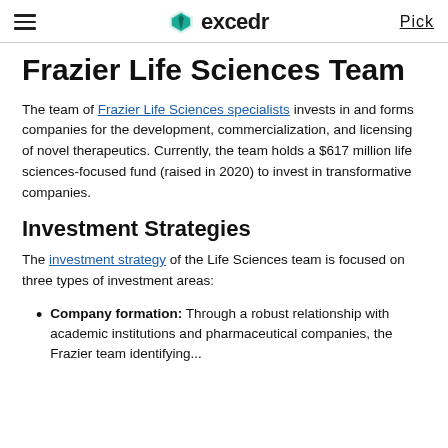excedr | Pick
Frazier Life Sciences Team
The team of Frazier Life Sciences specialists invests in and forms companies for the development, commercialization, and licensing of novel therapeutics. Currently, the team holds a $617 million life sciences-focused fund (raised in 2020) to invest in transformative companies.
Investment Strategies
The investment strategy of the Life Sciences team is focused on three types of investment areas:
Company formation: Through a robust relationship with academic institutions and pharmaceutical companies, the Frazier team identifying...